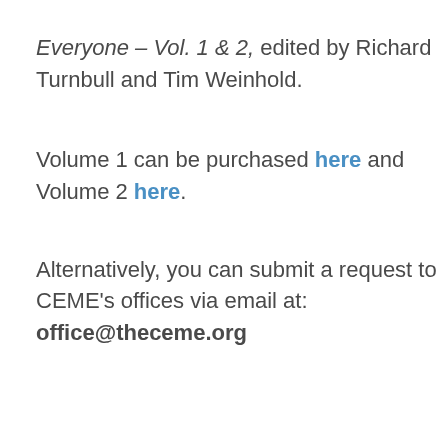Everyone – Vol. 1 & 2, edited by Richard Turnbull and Tim Weinhold.
Volume 1 can be purchased here and Volume 2 here.
Alternatively, you can submit a request to CEME's offices via email at: office@theceme.org